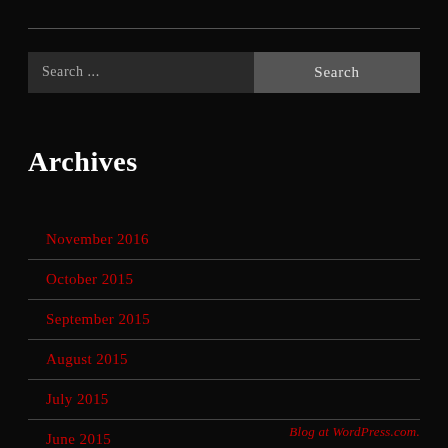Search ...
Search
Archives
November 2016
October 2015
September 2015
August 2015
July 2015
June 2015
Blog at WordPress.com.